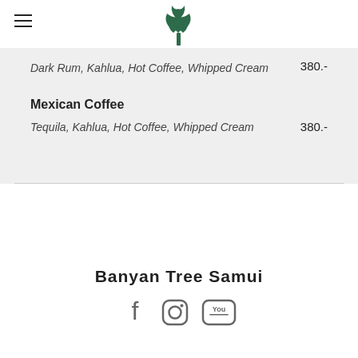Banyan Tree Samui logo and navigation
Dark Rum, Kahlua, Hot Coffee, Whipped Cream
Mexican Coffee
Tequila, Kahlua, Hot Coffee, Whipped Cream
Banyan Tree Samui
[Figure (logo): Social media icons: Facebook, Instagram, YouTube]